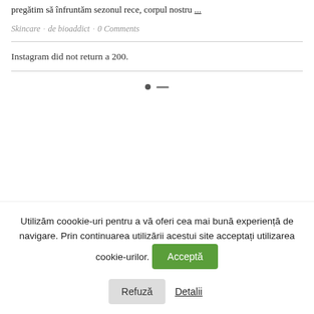pregătim să înfruntăm sezonul rece, corpul nostru ...
Skincare · de bioaddict · 0 Comments
Instagram did not return a 200.
Utilizăm coookie-uri pentru a vă oferi cea mai bună experiență de navigare. Prin continuarea utilizării acestui site acceptați utilizarea cookie-urilor.
Acceptă
Refuză
Detalii